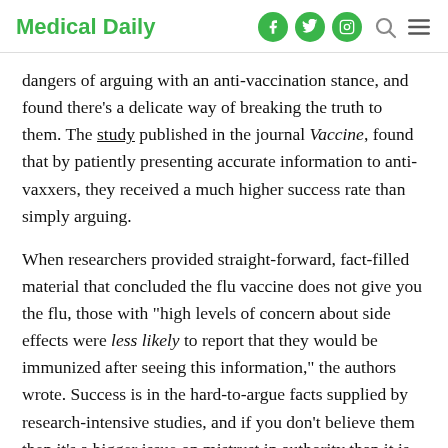Medical Daily
dangers of arguing with an anti-vaccination stance, and found there's a delicate way of breaking the truth to them. The study published in the journal Vaccine, found that by patiently presenting accurate information to anti-vaxxers, they received a much higher success rate than simply arguing.
When researchers provided straight-forward, fact-filled material that concluded the flu vaccine does not give you the flu, those with "high levels of concern about side effects were less likely to report that they would be immunized after seeing this information," the authors wrote. Success is in the hard-to-argue facts supplied by research-intensive studies, and if you don't believe them then it's a bigger issue on mistrust in authority than it is in scientific evidence.